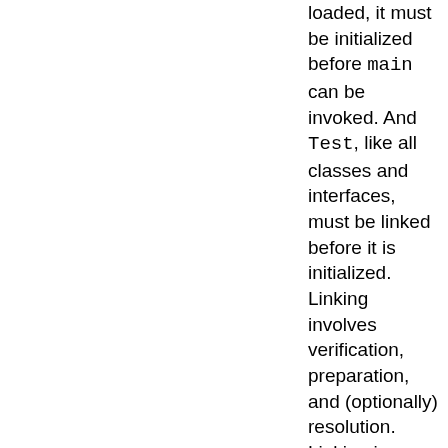loaded, it must be initialized before main can be invoked. And Test, like all classes and interfaces, must be linked before it is initialized. Linking involves verification, preparation, and (optionally) resolution. Linking is described further in §12.3. Verification checks that the loaded